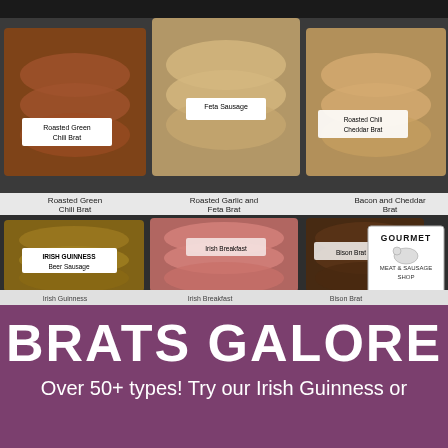[Figure (photo): Refrigerator display case showing multiple shelves of packaged bratwurst and sausages. Top shelf shows Roasted Green Chili Brat, Feta Sausage, and Cheddar Brat packages. Middle shelf labels read Roasted Green Chili Brat, Roasted Garlic and Feta Brat, and Bacon and Cheddar Brat. Bottom shelf shows Irish Guinness Beer Sausage, Irish Breakfast, and Bison Brat with a Gourmet Meat & Sausage Shop logo in the corner.]
BRATS GALORE
Over 50+ types! Try our Irish Guinness or